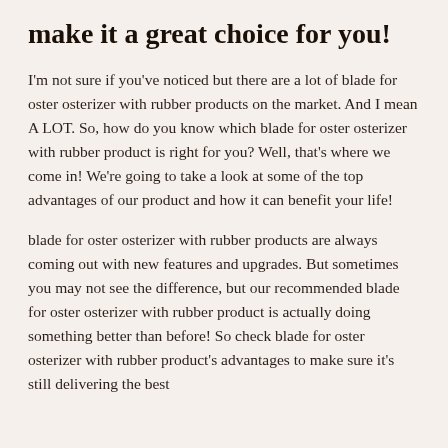make it a great choice for you!
I'm not sure if you've noticed but there are a lot of blade for oster osterizer with rubber products on the market. And I mean A LOT. So, how do you know which blade for oster osterizer with rubber product is right for you? Well, that's where we come in! We're going to take a look at some of the top advantages of our product and how it can benefit your life!
blade for oster osterizer with rubber products are always coming out with new features and upgrades. But sometimes you may not see the difference, but our recommended blade for oster osterizer with rubber product is actually doing something better than before! So check blade for oster osterizer with rubber product's advantages to make sure it's still delivering the best